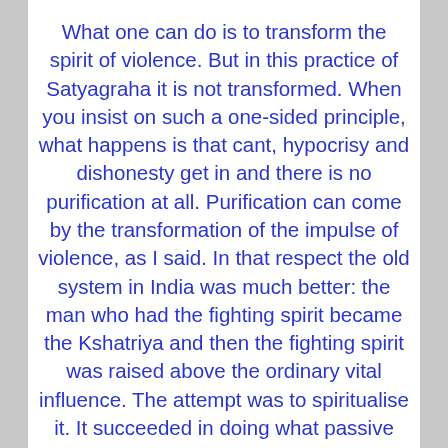What one can do is to transform the spirit of violence. But in this practice of Satyagraha it is not transformed. When you insist on such a one-sided principle, what happens is that cant, hypocrisy and dishonesty get in and there is no purification at all. Purification can come by the transformation of the impulse of violence, as I said. In that respect the old system in India was much better: the man who had the fighting spirit became the Kshatriya and then the fighting spirit was raised above the ordinary vital influence. The attempt was to spiritualise it. It succeeded in doing what passive resistance cannot and will not achieve. The Kshatriya was the man who would not allow any oppression, who would fight it out and he was the man who would